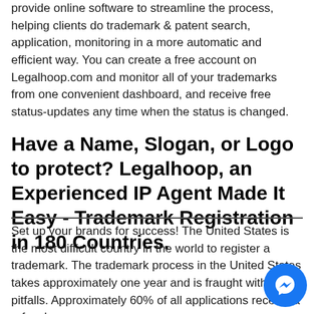provide online software to streamline the process, helping clients do trademark & patent search, application, monitoring in a more automatic and efficient way. You can create a free account on Legalhoop.com and monitor all of your trademarks from one convenient dashboard, and receive free status-updates any time when the status is changed.
Have a Name, Slogan, or Logo to protect? Legalhoop, an Experienced IP Agent Made It Easy - Trademark Registration in 180 Countries.
Set up your brands for success! The United States is the most difficult country in the world to register a trademark. The trademark process in the United States takes approximately one year and is fraught with pitfalls. Approximately 60% of all applications receive a refusal.